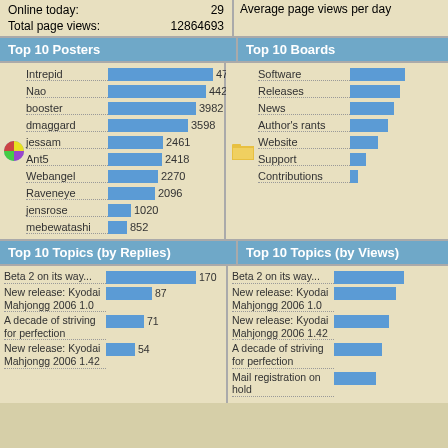| Metric | Value |
| --- | --- |
| Online today: | 29 |
| Total page views: | 12864693 |
Top 10 Posters
Top 10 Boards
[Figure (bar-chart): Top 10 Posters]
[Figure (bar-chart): Top 10 Boards]
Top 10 Topics (by Replies)
Top 10 Topics (by Views)
[Figure (bar-chart): Top 10 Topics (by Replies)]
[Figure (bar-chart): Top 10 Topics (by Views)]